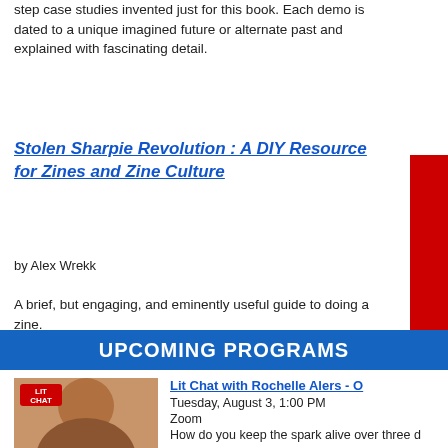step case studies invented just for this book. Each demo is dated to a unique imagined future or alternate past and explained with fascinating detail.
Stolen Sharpie Revolution : A DIY Resource for Zines and Zine Culture
by Alex Wrekk
A brief, but engaging, and eminently useful guide to doing a zine.
UPCOMING PROGRAMS
[Figure (photo): Photo of a woman with a LIT CHAT badge overlay in red]
Lit Chat with Rochelle Alers - 
Tuesday, August 3, 1:00 PM
Zoom
How do you keep the spark alive over three d